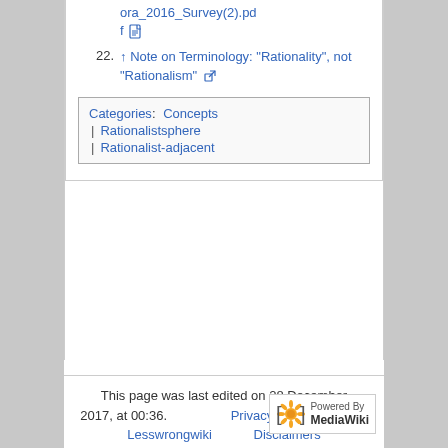ora_2016_Survey(2).pdf [file icon]
22. ↑ Note on Terminology: "Rationality", not "Rationalism" [external link]
Categories: Concepts | Rationalistsphere | Rationalist-adjacent
This page was last edited on 28 December 2017, at 00:36. Privacy policy About Lesswrongwiki Disclaimers